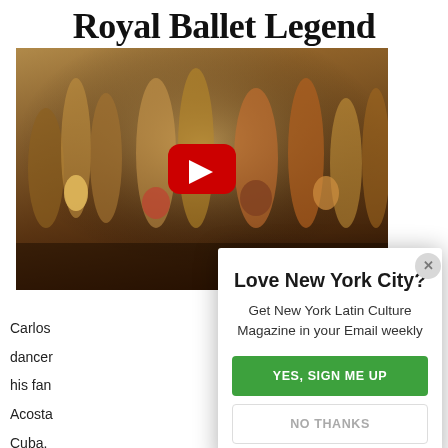Royal Ballet Legend
[Figure (photo): Ballet performance on stage with dancers in colorful costumes, with a YouTube play button overlaid in the center]
Carlos
dancer
his fan
Acosta
Cuba.
Love New York City?
Get New York Latin Culture Magazine in your Email weekly
YES, SIGN ME UP
NO THANKS